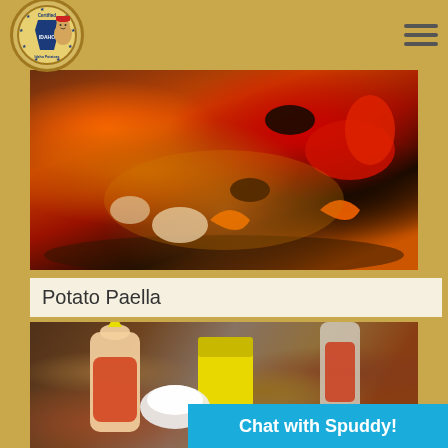Certified Idaho Potatoes logo and navigation menu
[Figure (photo): Close-up photo of Potato Paella dish showing seafood, vegetables including red peppers, shrimp, dark mussels, and onions in a pan with rich sauce]
Potato Paella
[Figure (photo): Photo of condiment bottles on a wooden surface including Sriracha hot sauce, a yellow mustard bottle, white cream in a bowl, and ketchup/sauce bottles]
Chat with Spuddy!